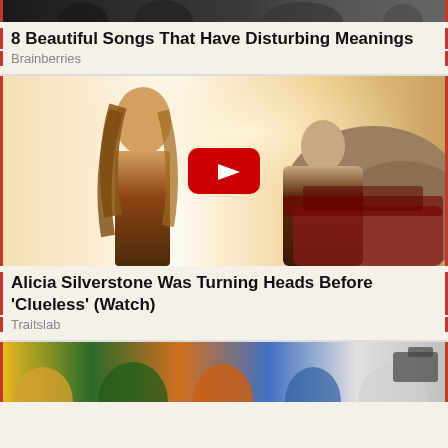[Figure (photo): Top portion of an image showing people, partially cropped at top of page]
8 Beautiful Songs That Have Disturbing Meanings
Brainberries
[Figure (screenshot): YouTube video thumbnail showing Alicia Silverstone in a music video scene with a car and another person, with a red YouTube play button overlay]
Alicia Silverstone Was Turning Heads Before 'Clueless' (Watch)
Traitslab
[Figure (photo): Bottom portion of an image showing people at an outdoor event, partially cropped at bottom of page]